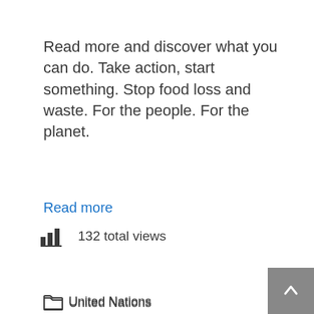Read more and discover what you can do. Take action, start something. Stop food loss and waste. For the people. For the planet.
Read more
132 total views
United Nations
food produced is lost between harvest and retail, food systems cannot be resilient if they are not sustainable, International Day of Awareness of Food Loss and Waste, Reducing food losses and